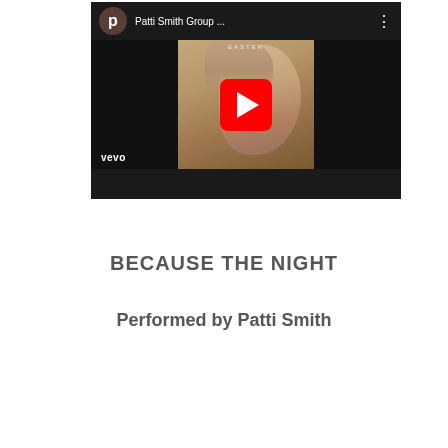[Figure (screenshot): YouTube video thumbnail showing Patti Smith Group music video on Vevo, with a red play button overlay on album art featuring a figure with arms raised, dark bars on sides, and YouTube top bar with avatar and title 'Patti Smith Group ...' with three-dot menu]
BECAUSE THE NIGHT
Performed by Patti Smith